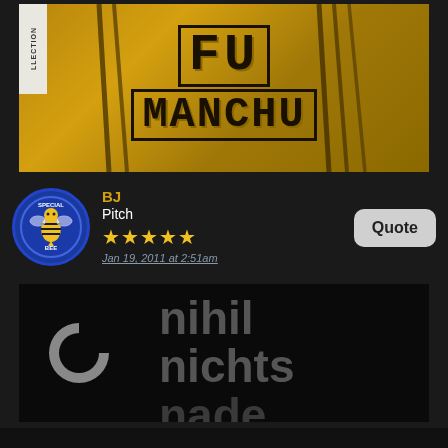[Figure (photo): Movie poster for Fu Manchu with golden/yellow-brown background and large bold text reading FU MANCHU with claw marks. A collection tab is visible on the left edge.]
BJ
Pitch
★★★★★
Jan 19, 2011 at 2:51am
[Figure (photo): Movie image on black background showing Criterion Collection C logo on left and text reading 'nihil nichts nade' in dark gray large letters.]